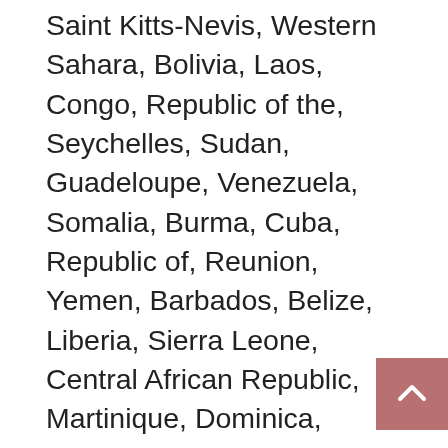Saint Kitts-Nevis, Western Sahara, Bolivia, Laos, Congo, Republic of the, Seychelles, Sudan, Guadeloupe, Venezuela, Somalia, Burma, Cuba, Republic of, Reunion, Yemen, Barbados, Belize, Liberia, Sierra Leone, Central African Republic, Martinique, Dominica, Niger, French Guiana, Saint Pierre and Miquelon, Saudi Arabia, Nicaragua, Tajikistan, Anguilla, Antigua and Barbuda, British Virgin Islands, Cape Verde Islands, Honduras, Saint Vincent and the Grenadines, Turks and Caicos Islands, Botswana, Eritrea, Swaziland, Lesotho. She was made available in several varieties, including comfy plush, "troll hair" plush, and 8" and 12" varieties. Care Bears are a group of huggable and furry friends, each with a unique personality that matches the symbol on their belly badge. Then in 1982, the entire Care Bears franchise was launched in New York City and soon became one of the most popular toys amongst girls in the 1980s. 🧸 Keep the nostalgia fantasies alive in this purple tie-dye custom crewneck that has your favorite